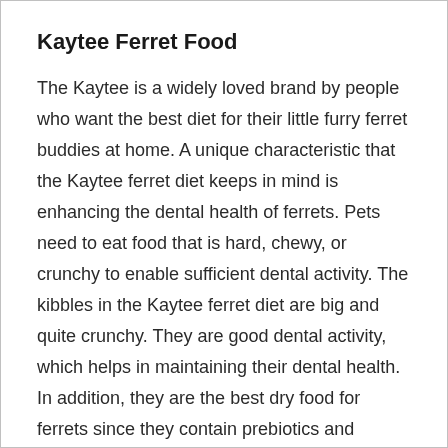Kaytee Ferret Food
The Kaytee is a widely loved brand by people who want the best diet for their little furry ferret buddies at home. A unique characteristic that the Kaytee ferret diet keeps in mind is enhancing the dental health of ferrets. Pets need to eat food that is hard, chewy, or crunchy to enable sufficient dental activity. The kibbles in the Kaytee ferret diet are big and quite crunchy. They are good dental activity, which helps in maintaining their dental health. In addition, they are the best dry food for ferrets since they contain prebiotics and probiotics that